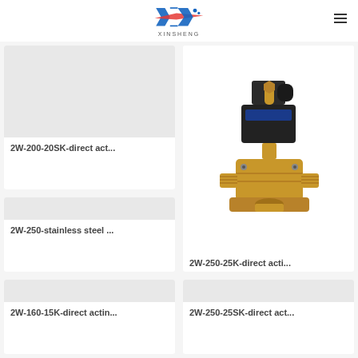XINSHENG
[Figure (photo): Product card image placeholder for 2W-200-20SK solenoid valve]
2W-200-20SK-direct act...
[Figure (photo): Brass solenoid valve 2W-250-25K with black coil connector on top]
2W-250-25K-direct acti...
[Figure (photo): Product card image placeholder for 2W-250-stainless steel solenoid valve]
2W-250-stainless steel ...
[Figure (photo): Product card image placeholder for 2W-250-25SK solenoid valve]
2W-250-25SK-direct act...
[Figure (photo): Product card image placeholder for 2W-160-15K solenoid valve]
2W-160-15K-direct actin...